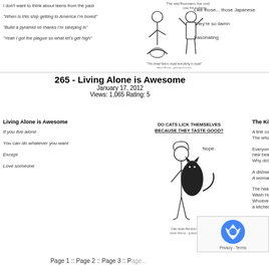I don't want to think about teens from the past
"When is this ship getting to America I'm bored"
"Build a pyramid no thanks I'm sleeping in"
"Yeah I got the plague so what let's get high"
[Figure (illustration): Comic strip showing two characters — a woman in a dress and a man with raised hands]
Like those... those Japanese
They're so damn
Fascinating
265 - Living Alone is Awesome
January 17, 2012
Views: 1,065 Rating: 5
306 - T...
Ma...
Views:...
Living Alone is Awesome
If you live alone
You can do whatever you want
Except
Love someone
[Figure (illustration): Comic strip showing a girl holding a black cat, with text 'DO CATS LICK THEMSELVES BECAUSE THEY TASTE GOOD?' and 'Nope.' caption reads: Cats taste like dust and evil]
The Kitchen Staff
A line cook puts on a Slayer album
The whole kitchen approves
Everyone in an apron cheers as a prep cook burns his new beard net with a Zippo
Why did the owner think he would wear it?
A dishwasher fantasizes about his dream girl
A woman that knows what a powerbomb is
The head chef laughs at the "All Employees Must Wash Hands" sign in the back room
Whoever put up that sign has clearly never worked in a kitchen
Page 1 :: Page 2 :: Page 3 :: Page...